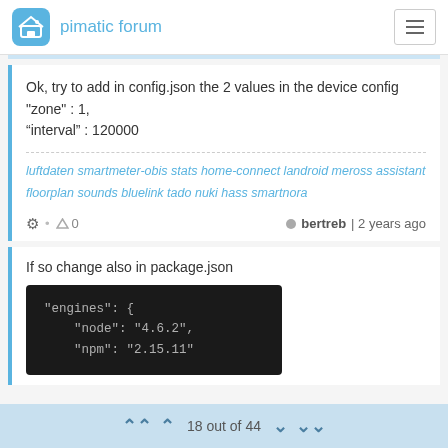pimatic forum
Ok, try to add in config.json the 2 values in the device config
"zone" : 1,
“interval” : 120000
luftdaten smartmeter-obis stats home-connect landroid meross assistant floorplan sounds bluelink tado nuki hass smartnora
0   bertreb | 2 years ago
If so change also in package.json
[Figure (screenshot): Code block showing JSON: "engines": { "node": "4.6.2", "npm": "2.15.11"]
18 out of 44